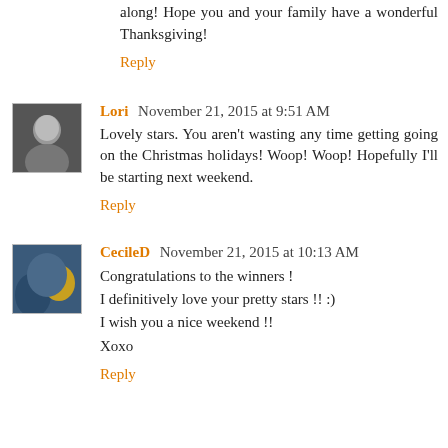along! Hope you and your family have a wonderful Thanksgiving!
Reply
Lori November 21, 2015 at 9:51 AM
Lovely stars. You aren't wasting any time getting going on the Christmas holidays! Woop! Woop! Hopefully I'll be starting next weekend.
Reply
CecileD November 21, 2015 at 10:13 AM
Congratulations to the winners !
I definitively love your pretty stars !! :)
I wish you a nice weekend !!
Xoxo
Reply